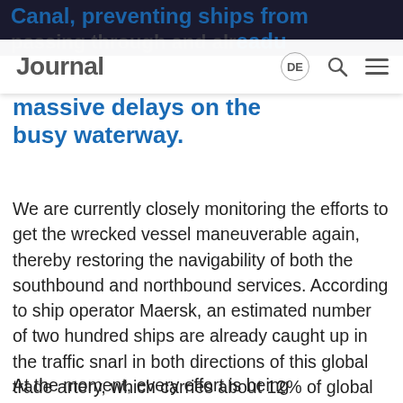Canal, preventing ships from passing through and already causing massive delays on the busy waterway.
Journal DE [search] [menu]
massive delays on the busy waterway.
We are currently closely monitoring the efforts to get the wrecked vessel maneuverable again, thereby restoring the navigability of both the southbound and northbound services. According to ship operator Maersk, an estimated number of two hundred ships are already caught up in the traffic snarl in both directions of this global trade artery, which carries about 12% of global trade.
At the moment, every effort is being